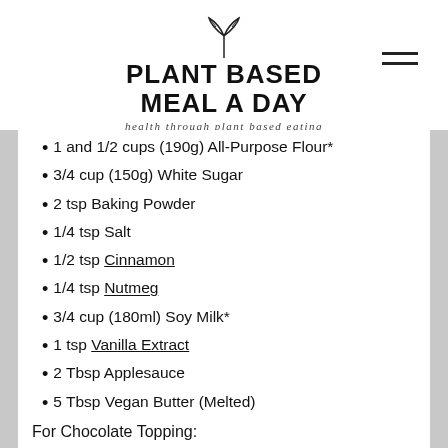[Figure (logo): Plant Based Meal A Day logo with leaf/sprout illustration above bold uppercase text 'PLANT BASED MEAL A DAY' and tagline 'health through plant based eating']
1 and 1/2 cups (190g) All-Purpose Flour*
3/4 cup (150g) White Sugar
2 tsp Baking Powder
1/4 tsp Salt
1/2 tsp Cinnamon
1/4 tsp Nutmeg
3/4 cup (180ml) Soy Milk*
1 tsp Vanilla Extract
2 Tbsp Applesauce
5 Tbsp Vegan Butter (Melted)
For Chocolate Topping:
1 cup (175g) Vegan Chocolate Chips or Chopped Vegan Chocolate